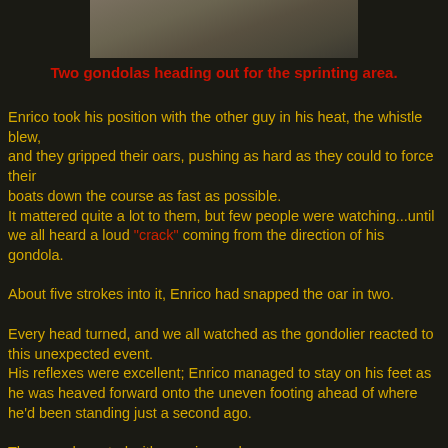[Figure (photo): Two gondolas on water heading toward a sprinting area, partially visible at top of page.]
Two gondolas heading out for the sprinting area.
Enrico took his position with the other guy in his heat, the whistle blew, and they gripped their oars, pushing as hard as they could to force their boats down the course as fast as possible. It mattered quite a lot to them, but few people were watching...until we all heard a loud "crack" coming from the direction of his gondola.

About five strokes into it, Enrico had snapped the oar in two.

Every head turned, and we all watched as the gondolier reacted to this unexpected event. His reflexes were excellent; Enrico managed to stay on his feet as he was heaved forward onto the uneven footing ahead of where he'd been standing just a second ago.

The crowd reacted with surprise and concern.